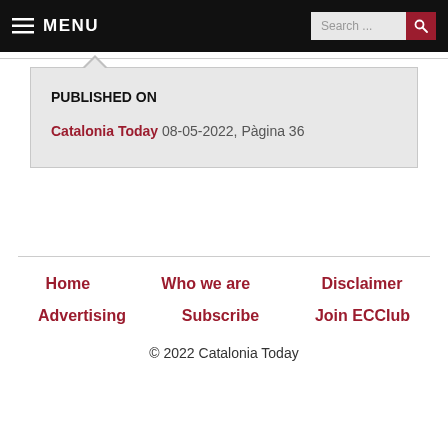MENU | Search...
PUBLISHED ON
Catalonia Today 08-05-2022, Pàgina 36
Home | Who we are | Disclaimer | Advertising | Subscribe | Join ECCIub | © 2022 Catalonia Today